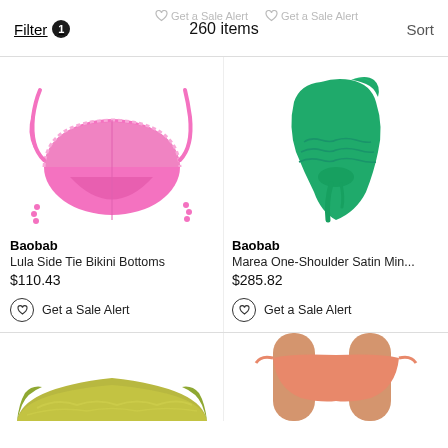Filter 1   260 items   Sort
[Figure (photo): Pink bikini bottoms with side tie strings - Baobab Lula Side Tie Bikini Bottoms]
Baobab
Lula Side Tie Bikini Bottoms
$110.43
Get a Sale Alert
[Figure (photo): Green one-shoulder satin mini dress with ruching and tie - Baobab Marea One-Shoulder Satin Min...]
Baobab
Marea One-Shoulder Satin Min...
$285.82
Get a Sale Alert
[Figure (photo): Olive/gold shimmer bikini bottoms - partially visible at bottom of page]
[Figure (photo): Peach/orange bikini bottoms on model - partially visible at bottom of page]